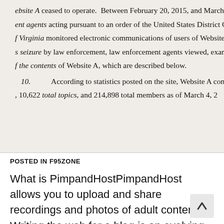ebsite A ceased to operate. Between February 20, 2015, and March 4, 2015, [text continues] ent agents acting pursuant to an order of the United States District Court fo[r] f Virginia monitored electronic communications of users of Website A. [T]s seizure by law enforcement, law enforcement agents viewed, examine[d] f the contents of Website A, which are described below.
10. According to statistics posted on the site, Website A cont[ained] [,] 10,622 total topics, and 214,898 total members as of March 4, 2[015]
POSTED IN F95ZONE
What is PimpandHostPimpandHost allows you to upload and share recordings and photos of adult content. Writing the web for a blog is an evolving standard and everyone should get it and part[icipate] in it. PimpandHost is a well-known web medi[a site] that has seen its development through mechanical